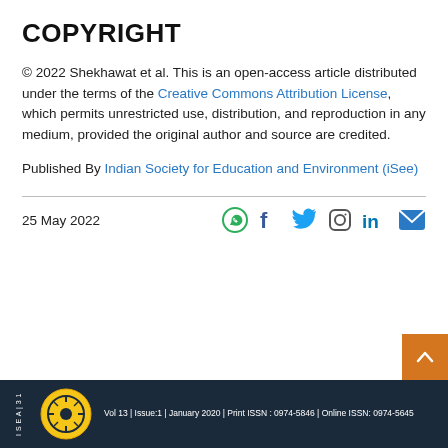COPYRIGHT
© 2022 Shekhawat et al. This is an open-access article distributed under the terms of the Creative Commons Attribution License, which permits unrestricted use, distribution, and reproduction in any medium, provided the original author and source are credited.
Published By Indian Society for Education and Environment (iSee)
25 May 2022
Vol 13 | Issue:1 | January 2020 | Print ISSN : 0974-5846 | Online ISSN: 0974-5645